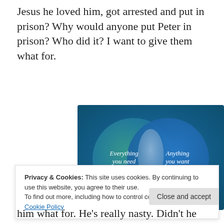Jesus he loved him, got arrested and put in prison? Why would anyone put Peter in prison? Who did it? I want to give them what for.
[Figure (infographic): Venn diagram with two overlapping circles on a teal-to-blue gradient background. Left circle (green/teal) labeled 'Everything you need', right circle (blue) labeled 'Anything you want', with a lighter overlap region in the center.]
Privacy & Cookies: This site uses cookies. By continuing to use this website, you agree to their use.
To find out more, including how to control cookies, see here: Cookie Policy
him what for. He's really nasty. Didn't he want to kill Jesus